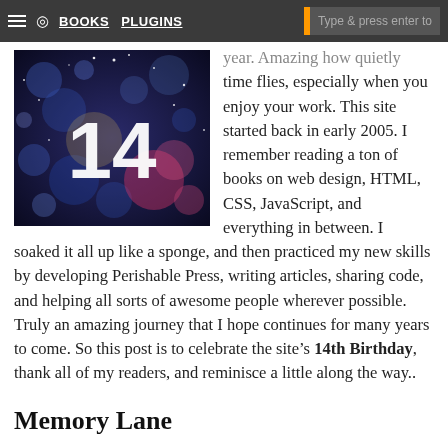BOOKS  PLUGINS  Type & press enter to
[Figure (photo): Bokeh/sparkle background image with large white number '14' in the center]
year. Amazing how quickly time flies, especially when you enjoy your work. This site started back in early 2005. I remember reading a ton of books on web design, HTML, CSS, JavaScript, and everything in between. I soaked it all up like a sponge, and then practiced my new skills by developing Perishable Press, writing articles, sharing code, and helping all sorts of awesome people wherever possible. Truly an amazing journey that I hope continues for many years to come. So this post is to celebrate the site's 14th Birthday, thank all of my readers, and reminisce a little along the way..
Memory Lane